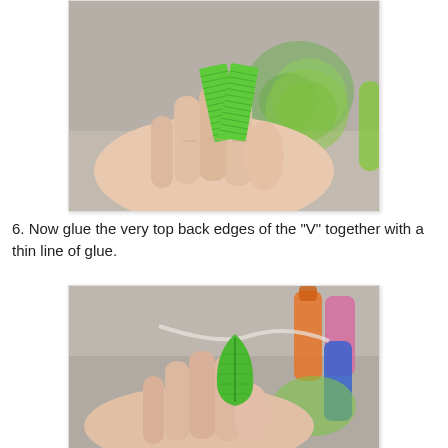[Figure (photo): A hand holding two small rectangles of bright green grosgrain ribbon arranged in a V shape, with craft supplies visible in the background.]
6. Now glue the very top back edges of the "V" together with a thin line of glue.
[Figure (photo): A hand holding the green ribbon pieces now glued together into a leaf/teardrop shape, with glue bottles visible in the background.]